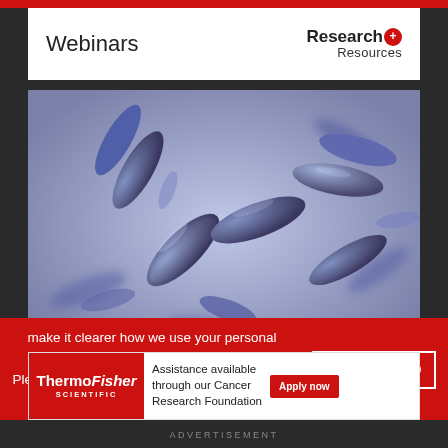Webinars
[Figure (photo): Microscopic image of bacteria (rod-shaped bacilli) rendered in blue/purple tones, scientific illustration style.]
make it clearer how we use your personal data.
Please read our Cookie Policy to learn how we use cookies to provide you
I UNDERSTAND
[Figure (infographic): ThermoFisher Scientific advertisement: Assistance available through our Cancer Research Foundation. Apply now button.]
ADVERTISEMENT